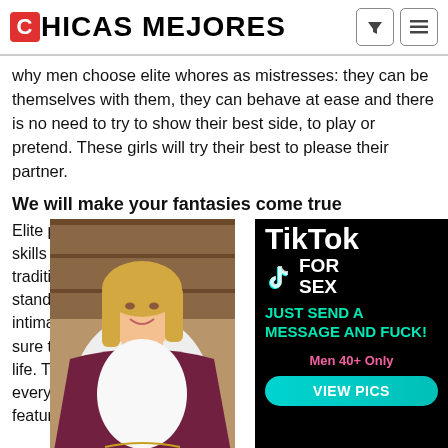CHICAS MEJORES
why men choose elite whores as mistresses: they can be themselves with them, they can behave at ease and there is no need to try to show their best side, to play or pretend. These girls will try their best to please their partner.
We will make your fantasies come true
Elite prostitute has skills in her professional traditional sexual standard skills. She intimate entertainment sure that you have life. The escort in every taste, each feature. What the
[Figure (photo): Blonde woman in white top and dark jeans standing in a restaurant/bar setting]
[Figure (infographic): TikTok FOR SEX advertisement overlay on black background. Text: TikTok FOR SEX, JUST SEND A MESSAGE AND FUCK!, Men 40+ Only, VIEW PICS]